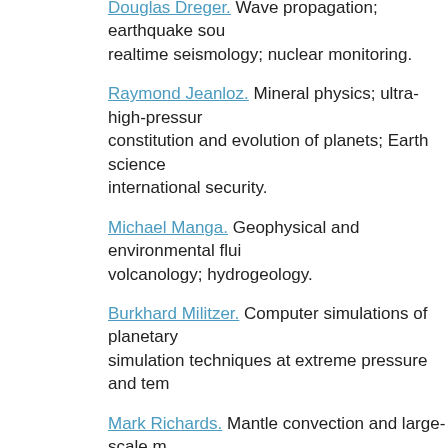Douglas Dreger. Wave propagation; earthquake sou... realtime seismology; nuclear monitoring.
Raymond Jeanloz. Mineral physics; ultra-high-pressur... constitution and evolution of planets; Earth science... international security.
Michael Manga. Geophysical and environmental flui... volcanology; hydrogeology.
Burkhard Militzer. Computer simulations of planetary... simulation techniques at extreme pressure and tem...
Mark Richards. Mantle convection and large-scale m... planets; dynamics of global plate motions; regional d... hazards.
Barbara Romanowicz. Global seismology; Earth's de... modeling and tomography; normal-mode theory.
Nicholas Swanson-Hysell. Earth history as revealed f... paleomagnetic and rock magnetic data to constrain...